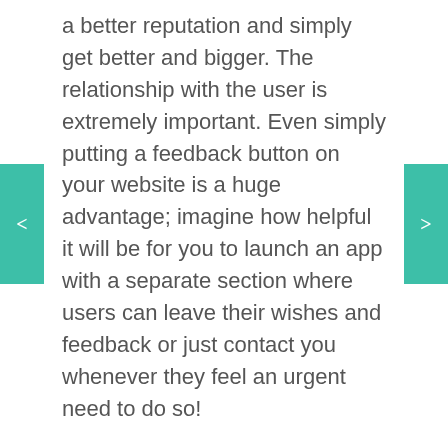a better reputation and simply get better and bigger. The relationship with the user is extremely important. Even simply putting a feedback button on your website is a huge advantage; imagine how helpful it will be for you to launch an app with a separate section where users can leave their wishes and feedback or just contact you whenever they feel an urgent need to do so!
Another perspective on this matter is the possibility to interacting with your users within an app. It's kind of mindblowing really, how far the technologies have come. The great example here are the countless taxi services (Uber being one of the most prominent examples), where you